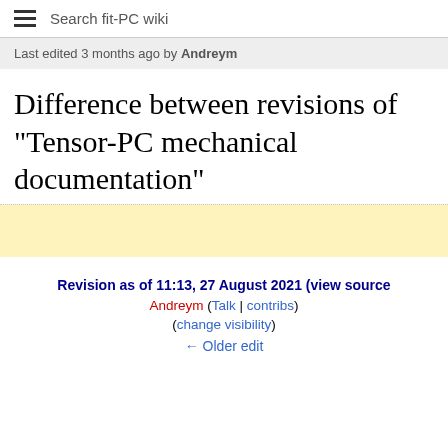Search fit-PC wiki
Last edited 3 months ago by Andreym
Difference between revisions of "Tensor-PC mechanical documentation"
Revision as of 11:13, 27 August 2021 (view source
Andreym (Talk | contribs)
(change visibility)
← Older edit